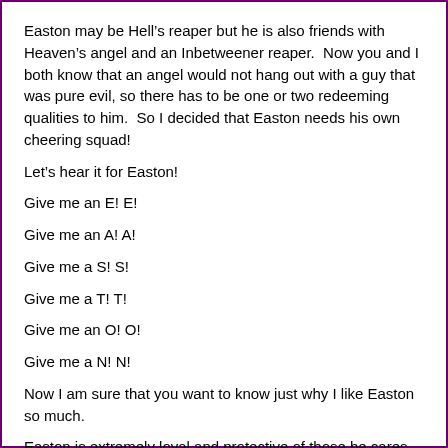Easton may be Hell’s reaper but he is also friends with Heaven’s angel and an Inbetweener reaper.  Now you and I both know that an angel would not hang out with a guy that was pure evil, so there has to be one or two redeeming qualities to him.  So I decided that Easton needs his own cheering squad!
Let’s hear it for Easton!
Give me an E! E!
Give me an A! A!
Give me a S! S!
Give me a T! T!
Give me an O! O!
Give me a N! N!
Now I am sure that you want to know just why I like Easton so much.
Easton is extremely loyal and protective of those he cares about.  This is shown throughout the book through not his words (which are grumpy most of the time) but instead through his actions.  He may not